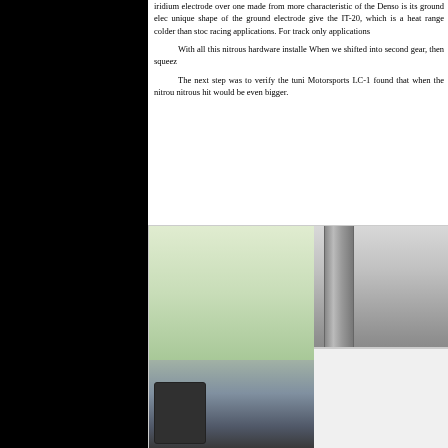iridium electrode over one made from more characteristic of the Denso is its ground elec unique shape of the ground electrode give the IT-20, which is a heat range colder than stoc racing applications. For track only applications
With all this nitrous hardware installed When we shifted into second gear, then squeez
The next step was to verify the tuni Motorsports LC-1 found that when the nitrou nitrous hit would be even bigger.
[Figure (photo): Photograph taken inside a garage or workshop showing a white car with hood open, some dark equipment in the foreground left, a large cylindrical ventilation duct on the right side, and trees visible through an open garage door in the background.]